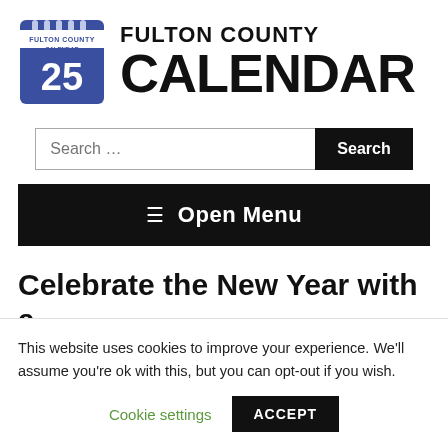[Figure (logo): Fulton County Calendar logo: blue calendar icon with the number 25, next to bold text reading FULTON COUNTY CALENDAR]
Celebrate the New Year with a
This website uses cookies to improve your experience. We'll assume you're ok with this, but you can opt-out if you wish.
Cookie settings   ACCEPT